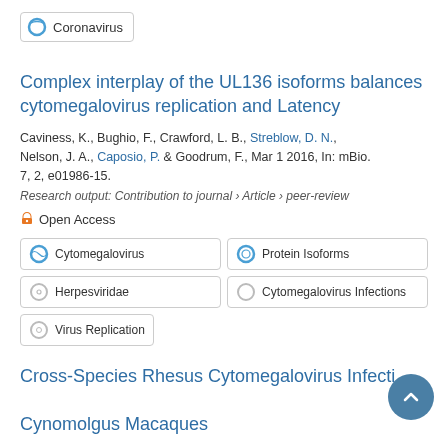Coronavirus
Complex interplay of the UL136 isoforms balances cytomegalovirus replication and Latency
Caviness, K., Bughio, F., Crawford, L. B., Streblow, D. N., Nelson, J. A., Caposio, P. & Goodrum, F., Mar 1 2016, In: mBio. 7, 2, e01986-15.
Research output: Contribution to journal › Article › peer-review
Open Access
Cytomegalovirus
Protein Isoforms
Herpesviridae
Cytomegalovirus Infections
Virus Replication
Cross-Species Rhesus Cytomegalovirus Infections of Cynomolgus Macaques
Burwitz, B. J., Malouli, D., Bimber, B. N., Reed, J. S., Ventura, A.